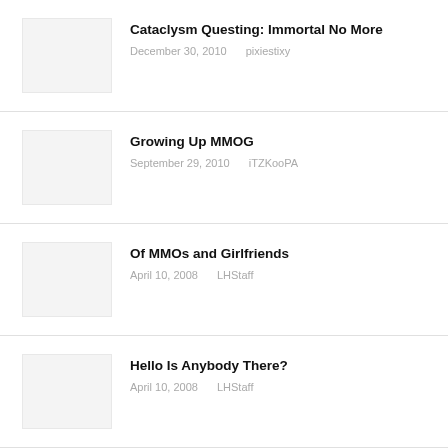Cataclysm Questing: Immortal No More | December 30, 2010 | pixiestixy
Growing Up MMOG | September 29, 2010 | iTZKooPA
Of MMOs and Girlfriends | April 10, 2008 | LHStaff
Hello Is Anybody There? | April 10, 2008 | LHStaff
Civilization MMO in the Works?